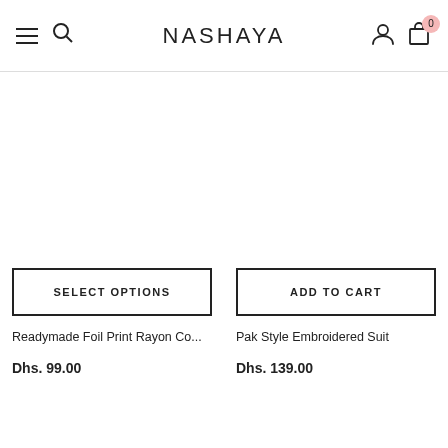NASHAYA
[Figure (screenshot): Product image area for Readymade Foil Print Rayon Co... (blank/white)]
SELECT OPTIONS
Readymade Foil Print Rayon Co...
Dhs. 99.00
[Figure (screenshot): Product image area for Pak Style Embroidered Suit (blank/white)]
ADD TO CART
Pak Style Embroidered Suit
Dhs. 139.00